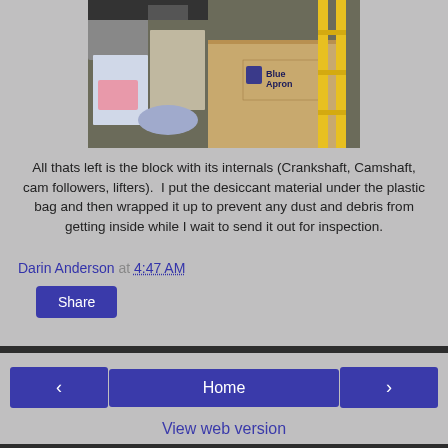[Figure (photo): Photo showing workshop/garage scene with boxes including a Blue Apron box, tools, and mechanical parts on a yellow ladder/shelf]
All thats left is the block with its internals (Crankshaft, Camshaft, cam followers, lifters).  I put the desiccant material under the plastic bag and then wrapped it up to prevent any dust and debris from getting inside while I wait to send it out for inspection.
Darin Anderson at 4:47 AM
Share
Home
View web version
ABOUT ME
Darin Anderson
View my complete profile